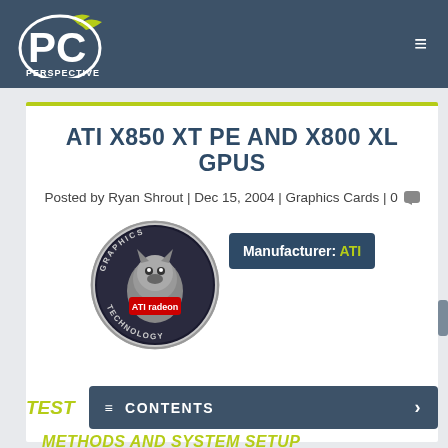[Figure (logo): PC Perspective logo - white PC text with green WiFi-style wings, white text 'PERSPECTIVE' below, on dark blue-grey header background]
ATI X850 XT PE AND X800 XL GPUS
Posted by Ryan Shrout | Dec 15, 2004 | Graphics Cards | 0
[Figure (illustration): ATI Radeon circular logo with metallic wolf/beast mascot, 'GRAPHICS TECHNOLOGY' around the edge, 'ATI radeon' in center]
Manufacturer: ATI
TEST
≡ CONTENTS >
METHODS AND SYSTEM SETUP